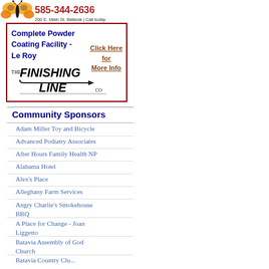[Figure (illustration): Butterfly logo with phone number 585-344-2636 and address 200 E. Main St. Batavia | Call today]
[Figure (logo): The Finishing Line Co. advertisement with text: Complete Powder Coating Facility - Le Roy, Click Here for More Info]
Community Sponsors
Adam Miller Toy and Bicycle
Advanced Podiatry Associates
After Hours Family Health NP
Alabama Hotel
Alex's Place
Alleghany Farm Services
Angry Charlie's Smokehouse BBQ
A Place for Change - Joan Liggetto
Batavia Assembly of God Church
Batavia Country Club